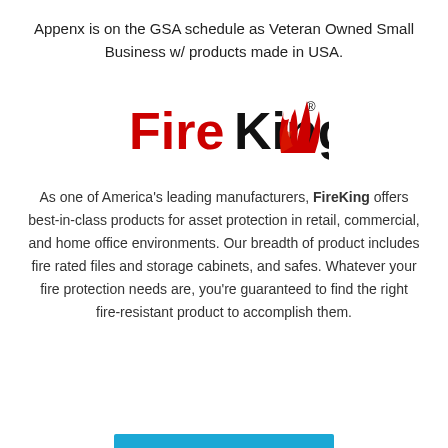Appenx is on the GSA schedule as Veteran Owned Small Business w/ products made in USA.
[Figure (logo): FireKing logo with red stylized flame graphic and black text 'FireKing' with registered trademark symbol]
As one of America's leading manufacturers, FireKing offers best-in-class products for asset protection in retail, commercial, and home office environments. Our breadth of product includes fire rated files and storage cabinets, and safes. Whatever your fire protection needs are, you're guaranteed to find the right fire-resistant product to accomplish them.